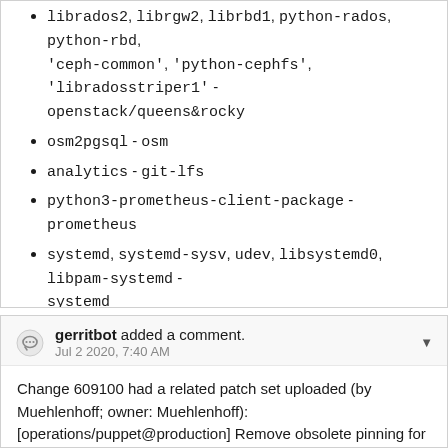librados2, librgw2, librbd1, python-rados, python-rbd, 'ceph-common', 'python-cephfs', 'libradosstriper1' - openstack/queens&rocky
osm2pgsql - osm
analytics - git-lfs
python3-prometheus-client-package - prometheus
systemd, systemd-sysv, udev, libsystemd0, libpam-systemd - systemd
npm - testreduce
libhwloc5 - trafficserver
librdkafka1 - varnishkafka
gerritbot added a comment.
Jul 2 2020, 7:40 AM
Change 609100 had a related patch set uploaded (by Muehlenhoff; owner: Muehlenhoff):
[operations/puppet@production] Remove obsolete pinning for liblwloc
https://gerrit.wikimedia.org/r/c/operations/puppet/ /609100